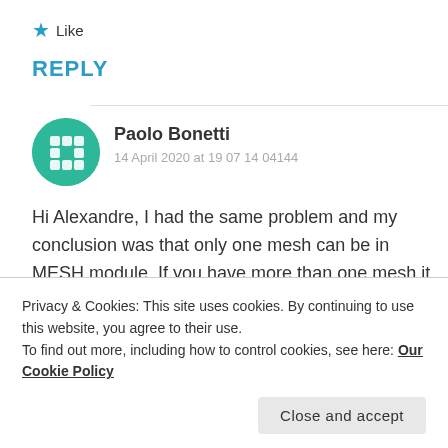★ Like
REPLY
Paolo Bonetti
14 April 2020 at 19 07 14 04144
Hi Alexandre, I had the same problem and my conclusion was that only one mesh can be in MESH module. If you have more than one mesh it is not possible to save the HDF file at all.
Privacy & Cookies: This site uses cookies. By continuing to use this website, you agree to their use.
To find out more, including how to control cookies, see here: Our Cookie Policy
Close and accept